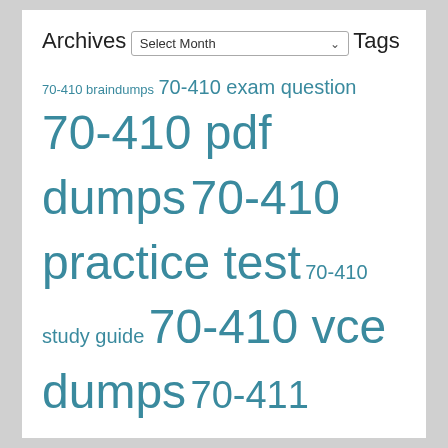Archives
Select Month
Tags
70-410 braindumps 70-410 exam question 70-410 pdf dumps 70-410 practice test 70-410 study guide 70-410 vce dumps 70-411 exam question 70-411 pdf dumps 70-411 practice test 70-411 study guide 70-411 vce dumps 70-412 pdf dumps 70-412 practice test 70-412 vce dumps 70-740